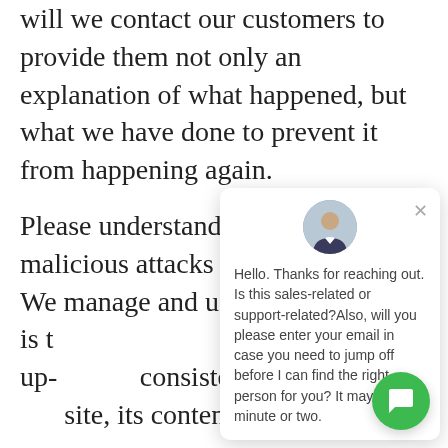will we contact our customers to provide them not only an explanation of what happened, but what we have done to prevent it from happening again.
Please understand that there are malicious attacks daily on Ca[...] We manage and up[...] that we believe is t[...] customers. Our up-[...] consistently each y[...] site, its content an[...]
[Figure (screenshot): Chat widget overlay showing a support agent avatar, a close button (×), and the message: Hello. Thanks for reaching out. Is this sales-related or support-related?Also, will you please enter your email in case you need to jump off before I can find the right person for you? It may take a minute or two.]
During an outage, we will never contaminate our communication with irregular or inaccurate responses, but instead, identify the problem and implement
[Figure (illustration): Green circular chat bubble button in the bottom right corner of the screen]